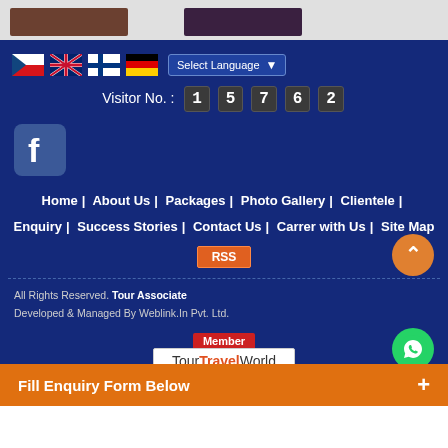[Figure (screenshot): Top strip with two small photo thumbnails on gray background]
[Figure (screenshot): Footer section of a travel website with dark blue background, language selector flags, visitor counter (15762), Facebook icon, navigation links (Home, About Us, Packages, Photo Gallery, Clientele, Enquiry, Success Stories, Contact Us, Carrer with Us, Site Map), RSS button, copyright text, TourTravelWorld member badge, scroll-to-top button, WhatsApp button, and orange enquiry bar at bottom]
Visitor No. : 1 5 7 6 2
Home | About Us | Packages | Photo Gallery | Clientele | Enquiry | Success Stories | Contact Us | Carrer with Us | Site Map
RSS
All Rights Reserved. Tour Associate
Developed & Managed By Weblink.In Pvt. Ltd.
Member
TourTravelWorld
Fill Enquiry Form Below +